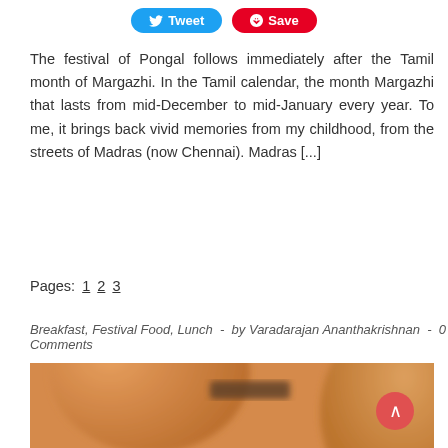[Figure (infographic): Tweet and Save social sharing buttons at the top of the page]
The festival of Pongal follows immediately after the Tamil month of Margazhi. In the Tamil calendar, the month Margazhi that lasts from mid-December to mid-January every year. To me, it brings back vivid memories from my childhood, from the streets of Madras (now Chennai). Madras [...]
Pages: 1 2 3
Breakfast, Festival Food, Lunch  -  by Varadarajan Ananthakrishnan  -  0 Comments
[Figure (photo): Blurred close-up photograph of what appears to be a clay or terracotta pot, warm orange-brown tones, soft focus]